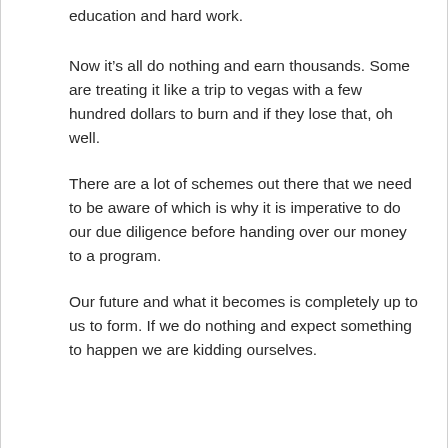education and hard work.
Now it’s all do nothing and earn thousands. Some are treating it like a trip to vegas with a few hundred dollars to burn and if they lose that, oh well.
There are a lot of schemes out there that we need to be aware of which is why it is imperative to do our due diligence before handing over our money to a program.
Our future and what it becomes is completely up to us to form. If we do nothing and expect something to happen we are kidding ourselves.